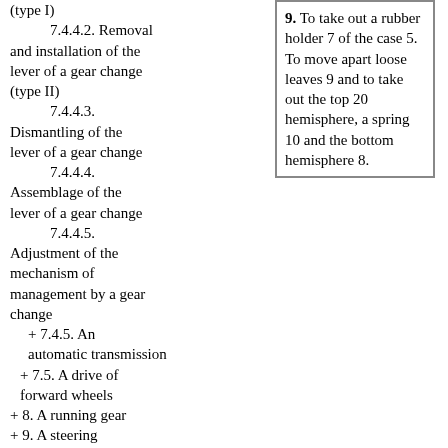(type I)
7.4.4.2. Removal and installation of the lever of a gear change (type II)
7.4.4.3. Dismantling of the lever of a gear change
7.4.4.4. Assemblage of the lever of a gear change
7.4.4.5. Adjustment of the mechanism of management by a gear change
+ 7.4.5. An automatic transmission
+ 7.5. A drive of forward wheels
+ 8. A running gear
+ 9. A steering
+ 10. Brake system
+ 11. A body
+ 12. An electric equipment
9. To take out a rubber holder 7 of the case 5. To move apart loose leaves 9 and to take out the top 20 hemisphere, a spring 10 and the bottom hemisphere 8.